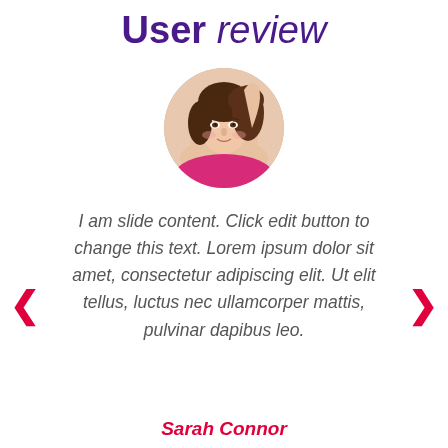User review
[Figure (photo): Circular portrait photo of a young woman with dark hair, smiling slightly, photographed against a white background.]
I am slide content. Click edit button to change this text. Lorem ipsum dolor sit amet, consectetur adipiscing elit. Ut elit tellus, luctus nec ullamcorper mattis, pulvinar dapibus leo.
Sarah Connor